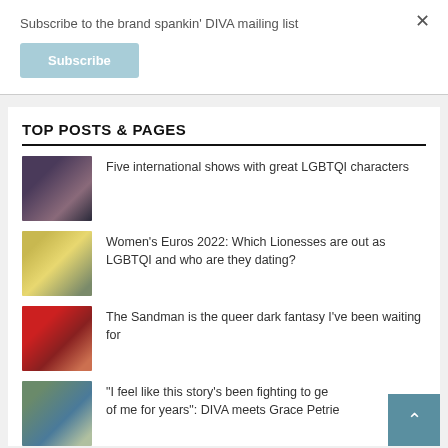Subscribe to the brand spankin' DIVA mailing list
Subscribe
×
TOP POSTS & PAGES
Five international shows with great LGBTQI characters
Women's Euros 2022: Which Lionesses are out as LGBTQI and who are they dating?
The Sandman is the queer dark fantasy I've been waiting for
"I feel like this story's been fighting to ge of me for years": DIVA meets Grace Petrie